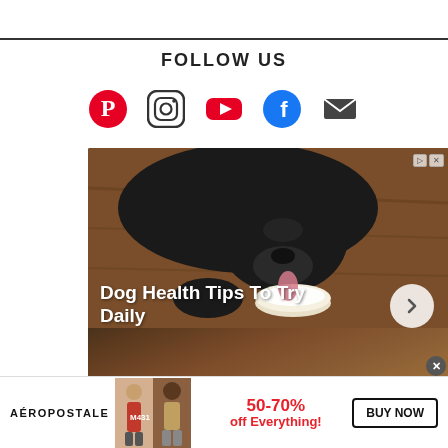FOLLOW US
[Figure (infographic): Social media icons: Pinterest (red P), Instagram (camera outline), YouTube (red play button), Facebook (blue circle with f), Email (envelope)]
[Figure (photo): Advertisement showing a black dog eating from a white dish on a wooden floor. Text overlay reads 'Dog Health Tips To Try Daily' with a forward arrow button. Ad badge in top right corner.]
[Figure (infographic): Aeropostale banner advertisement: '50-70% off Everything!' with two model photos and a BUY NOW button.]